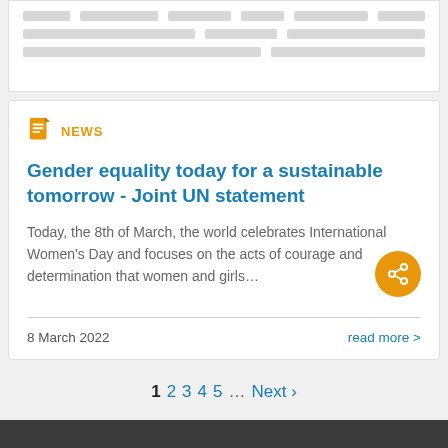[Figure (screenshot): Skeleton/placeholder content rows at top of page]
NEWS
Gender equality today for a sustainable tomorrow - Joint UN statement
Today, the 8th of March, the world celebrates International Women's Day and focuses on the acts of courage and determination that women and girls...
8 March 2022
read more >
1 2 3 4 5 … Next ›